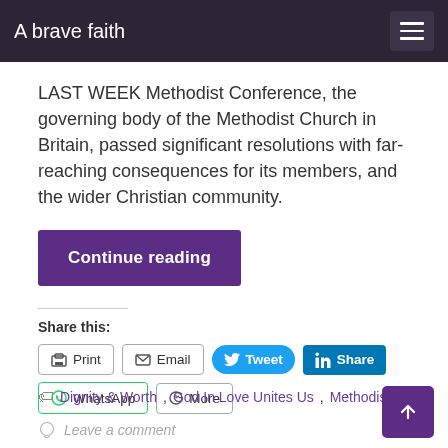A brave faith
LAST WEEK Methodist Conference, the governing body of the Methodist Church in Britain, passed significant resolutions with far-reaching consequences for its members, and the wider Christian community.
Continue reading
Share this:
Print
Email
Tweet
Share
WhatsApp
More
Dignity & Worth, God In Love Unites Us, Methodist
Leave a comment